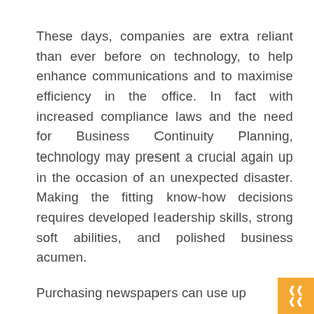These days, companies are extra reliant than ever before on technology, to help enhance communications and to maximise efficiency in the office. In fact with increased compliance laws and the need for Business Continuity Planning, technology may present a crucial again up in the occasion of an unexpected disaster. Making the fitting know-how decisions requires developed leadership skills, strong soft abilities, and polished business acumen.

Purchasing newspapers can use up